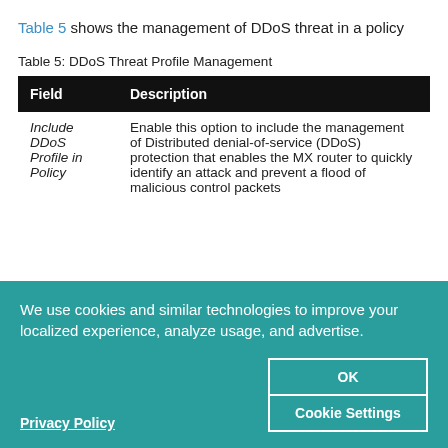Table 5 shows the management of DDoS threat in a policy
Table 5: DDoS Threat Profile Management
| Field | Description |
| --- | --- |
| Include DDoS Profile in Policy | Enable this option to include the management of Distributed denial-of-service (DDoS) protection that enables the MX router to quickly identify an attack and prevent a flood of malicious control packets |
We use cookies and similar technologies to improve your localized experience, analyze usage, and advertise.
Privacy Policy
OK
Cookie Settings